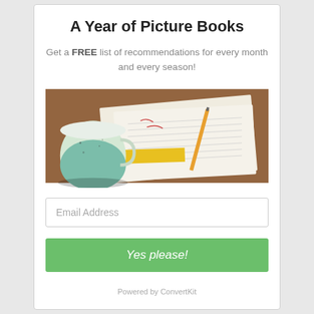A Year of Picture Books
Get a FREE list of recommendations for every month and every season!
[Figure (photo): A coffee mug with teal coloring on a wooden table next to papers with handwritten lists and a yellow pencil, with a book labeled MISS SUZY visible underneath]
Email Address
Yes please!
Powered by ConvertKit